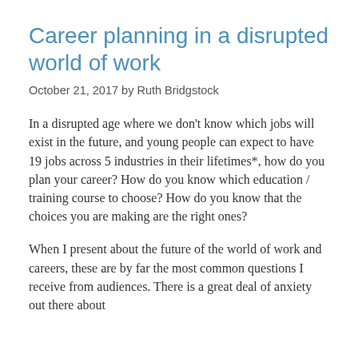Career planning in a disrupted world of work
October 21, 2017 by Ruth Bridgstock
In a disrupted age where we don't know which jobs will exist in the future, and young people can expect to have 19 jobs across 5 industries in their lifetimes*, how do you plan your career? How do you know which education / training course to choose? How do you know that the choices you are making are the right ones?
When I present about the future of the world of work and careers, these are by far the most common questions I receive from audiences. There is a great deal of anxiety out there about